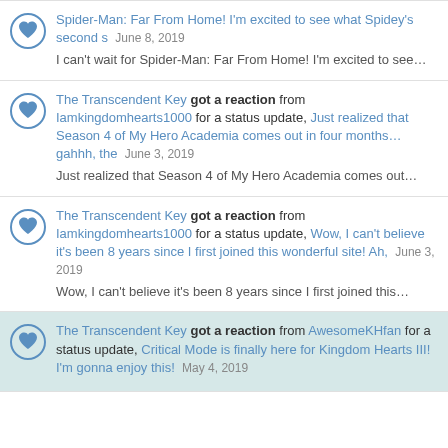Spider-Man: Far From Home! I'm excited to see what Spidey's second s June 8, 2019 | I can't wait for Spider-Man: Far From Home! I'm excited to see...
The Transcendent Key got a reaction from Iamkingdomhearts1000 for a status update, Just realized that Season 4 of My Hero Academia comes out in four months...gahhh, the June 3, 2019 | Just realized that Season 4 of My Hero Academia comes out...
The Transcendent Key got a reaction from Iamkingdomhearts1000 for a status update, Wow, I can't believe it's been 8 years since I first joined this wonderful site! Ah, June 3, 2019 | Wow, I can't believe it's been 8 years since I first joined this...
The Transcendent Key got a reaction from AwesomeKHfan for a status update, Critical Mode is finally here for Kingdom Hearts III! I'm gonna enjoy this! May 4, 2019